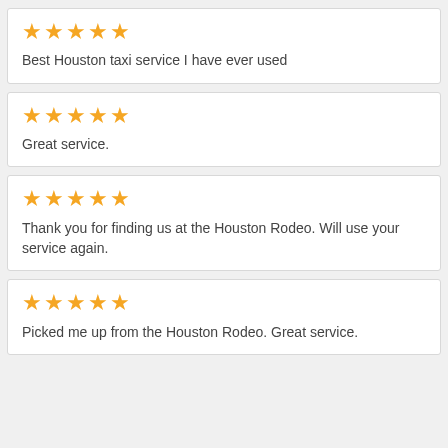★★★★★
Best Houston taxi service I have ever used
★★★★★
Great service.
★★★★★
Thank you for finding us at the Houston Rodeo. Will use your service again.
★★★★★
Picked me up from the Houston Rodeo. Great service.